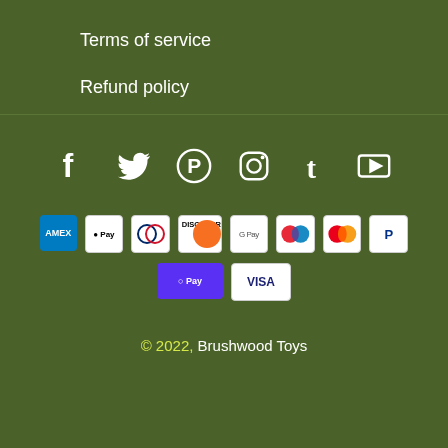Terms of service
Refund policy
[Figure (infographic): Row of social media icons: Facebook, Twitter, Pinterest, Instagram, Tumblr, YouTube]
[Figure (infographic): Payment method logos: American Express, Apple Pay, Diners Club, Discover, Google Pay, Maestro, Mastercard, PayPal, Shop Pay, Visa]
© 2022, Brushwood Toys